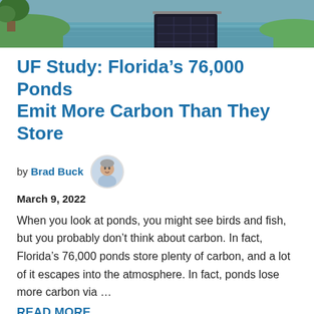[Figure (photo): Outdoor pond scene with solar panel or equipment floating on water, green grass and tree visible on edges]
UF Study: Florida’s 76,000 Ponds Emit More Carbon Than They Store
by Brad Buck
March 9, 2022
When you look at ponds, you might see birds and fish, but you probably don’t think about carbon. In fact, Florida’s 76,000 ponds store plenty of carbon, and a lot of it escapes into the atmosphere. In fact, ponds lose more carbon via …
READ MORE
Category: UF/IFAS
Tags: Audrey Goekner, Carbon, Development, Emission,